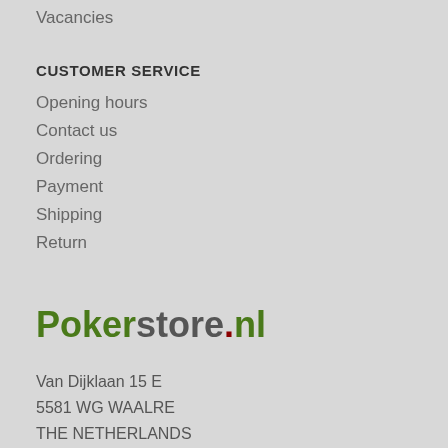Vacancies
CUSTOMER SERVICE
Opening hours
Contact us
Ordering
Payment
Shipping
Return
[Figure (logo): Pokerstore.nl logo in green and grey with red dot]
Van Dijklaan 15 E
5581 WG WAALRE
THE NETHERLANDS
+31 40 230 1256
+ 31 6 38 14 53 14